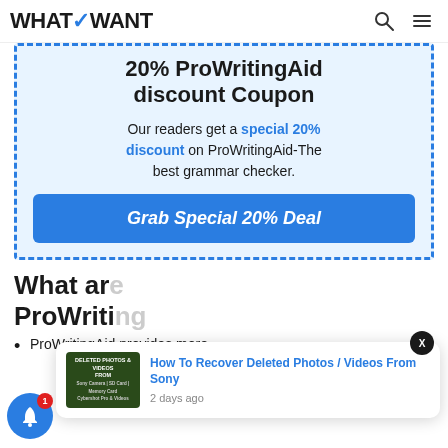WHATVWANT
20% ProWritingAid discount Coupon
Our readers get a special 20% discount on ProWritingAid-The best grammar checker.
Grab Special 20% Deal
What are ProWriting...
[Figure (screenshot): Notification popup with thumbnail image of deleted photos/videos article and close button]
How To Recover Deleted Photos / Videos From Sony
2 days ago
ProWritingAid provides more